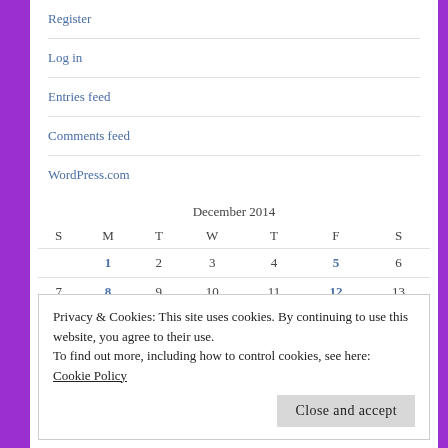Register
Log in
Entries feed
Comments feed
WordPress.com
| S | M | T | W | T | F | S |
| --- | --- | --- | --- | --- | --- | --- |
|  | 1 | 2 | 3 | 4 | 5 | 6 |
| 7 | 8 | 9 | 10 | 11 | 12 | 13 |
Privacy & Cookies: This site uses cookies. By continuing to use this website, you agree to their use.
To find out more, including how to control cookies, see here:
Cookie Policy
Close and accept